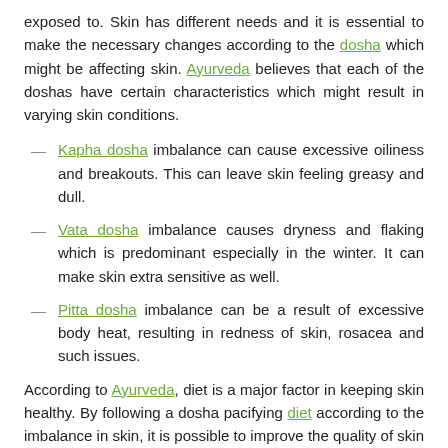exposed to. Skin has different needs and it is essential to make the necessary changes according to the dosha which might be affecting skin. Ayurveda believes that each of the doshas have certain characteristics which might result in varying skin conditions.
Kapha dosha imbalance can cause excessive oiliness and breakouts. This can leave skin feeling greasy and dull.
Vata dosha imbalance causes dryness and flaking which is predominant especially in the winter. It can make skin extra sensitive as well.
Pitta dosha imbalance can be a result of excessive body heat, resulting in redness of skin, rosacea and such issues.
According to Ayurveda, diet is a major factor in keeping skin healthy. By following a dosha pacifying diet according to the imbalance in skin, it is possible to improve the quality of skin on the face and body.
SIMPLE WINTER SKIN ROUTINE